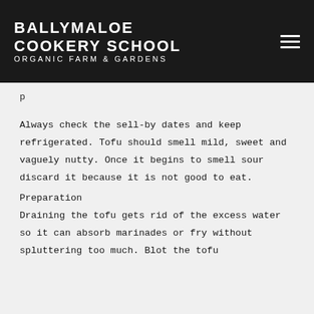BALLYMALOE COOKERY SCHOOL ORGANIC FARM & GARDENS
p
Always check the sell-by dates and keep refrigerated. Tofu should smell mild, sweet and vaguely nutty. Once it begins to smell sour discard it because it is not good to eat.
Preparation
Draining the tofu gets rid of the excess water so it can absorb marinades or fry without spluttering too much. Blot the tofu